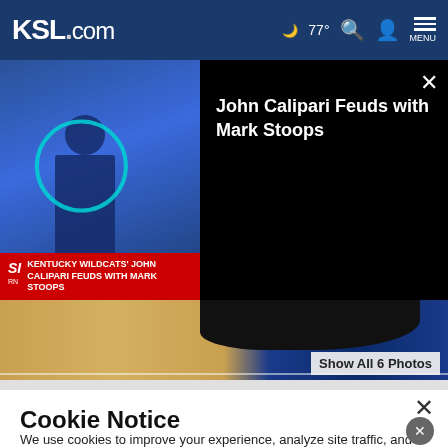KSL.com  77° MENU
[Figure (screenshot): Video thumbnail showing Kentucky Wildcats coach John Calipari with SI badge overlay reading 'KENTUCKY WILDCATS' JOHN CALIPARI FEUDS WITH MARK STOOPS'. Right side shows title 'John Calipari Feuds with Mark Stoops' on black background with close X button.]
[Figure (photo): Basketball court photo showing a shoe/foot on the hardwood, with partial text 'Show All 6 Photos' at bottom right.]
Cookie Notice
We use cookies to improve your experience, analyze site traffic, and to personalize content and ads. By continuing to use our site, you consent to our use of cookies. Please visit our Terms of Use and  Privacy Policy for more information